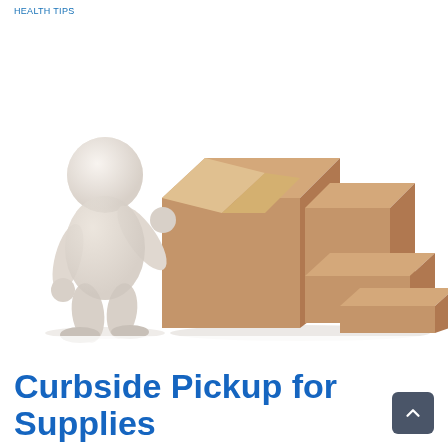HEALTH TIPS
[Figure (illustration): 3D cartoon white figure standing next to several cardboard boxes of varying sizes arranged in a staircase pattern]
Curbside Pickup for Supplies